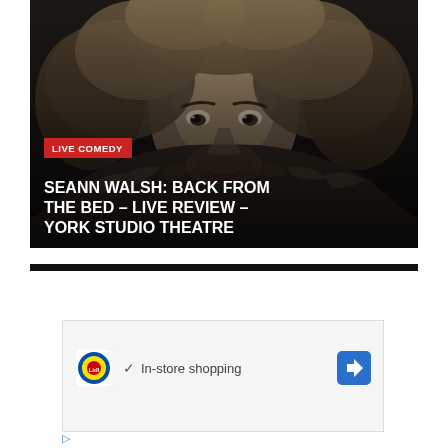[Figure (photo): Black and white close-up portrait of a man with wild curly hair wearing a fur-lined hood, with a red 'LIVE COMEDY' badge and large white title text overlaid at the bottom reading 'SEANN WALSH: BACK FROM THE BED – LIVE REVIEW – YORK STUDIO THEATRE']
[Figure (infographic): Advertisement block with Lidl logo, checkmark icon, 'In-store shopping' text, and a blue navigation arrow icon]